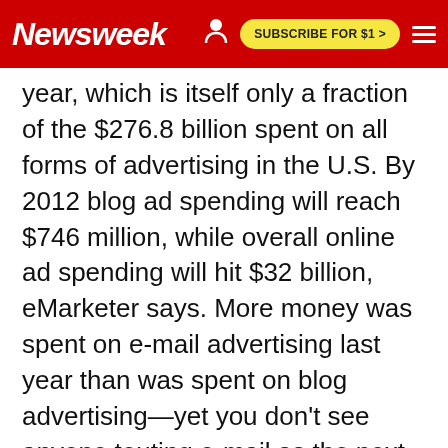Newsweek | SUBSCRIBE FOR $1 >
year, which is itself only a fraction of the $276.8 billion spent on all forms of advertising in the U.S. By 2012 blog ad spending will reach $746 million, while overall online ad spending will hit $32 billion, eMarketer says. More money was spent on e-mail advertising last year than was spent on blog advertising—yet you don't see anyone touting e-mail as the next big billion-dollar media business. Technorati, a blog researcher, estimates that bloggers who run ads earn an average of